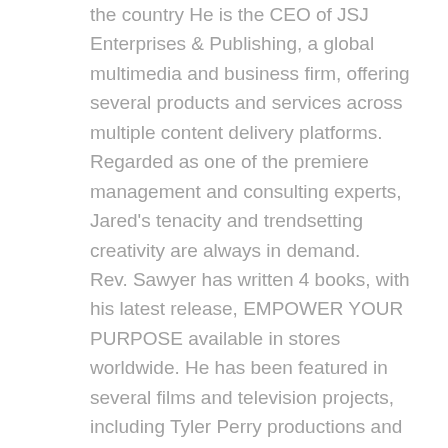the country He is the CEO of JSJ Enterprises & Publishing, a global multimedia and business firm, offering several products and services across multiple content delivery platforms. Regarded as one of the premiere management and consulting experts, Jared's tenacity and trendsetting creativity are always in demand. Rev. Sawyer has written 4 books, with his latest release, EMPOWER YOUR PURPOSE available in stores worldwide. He has been featured in several films and television projects, including Tyler Perry productions and is an award-winning producer, with his latest film, Let My Vote's recent debut at NBC's Meet The Press Film